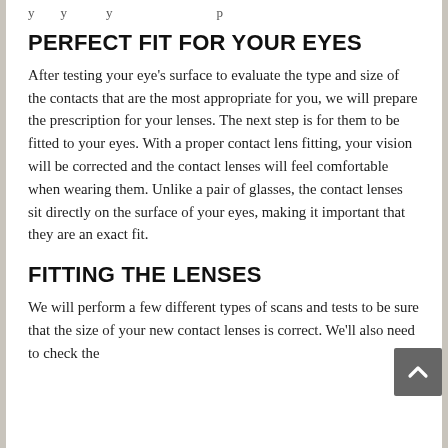y … y … y … p
PERFECT FIT FOR YOUR EYES
After testing your eye's surface to evaluate the type and size of the contacts that are the most appropriate for you, we will prepare the prescription for your lenses. The next step is for them to be fitted to your eyes. With a proper contact lens fitting, your vision will be corrected and the contact lenses will feel comfortable when wearing them. Unlike a pair of glasses, the contact lenses sit directly on the surface of your eyes, making it important that they are an exact fit.
FITTING THE LENSES
We will perform a few different types of scans and tests to be sure that the size of your new contact lenses is correct. We'll also need to check the